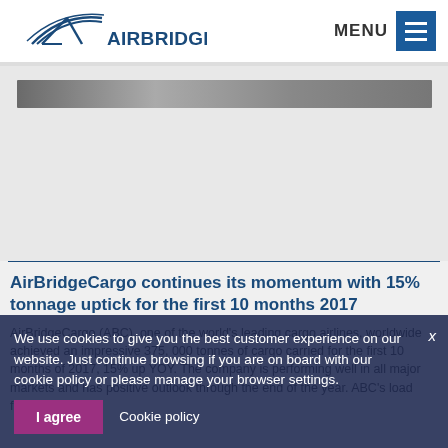AirBridgeCargo | MENU
[Figure (photo): Dark gradient bar on light grey background, representing a partially loaded image of an aircraft or cargo scene]
AirBridgeCargo continues its momentum with 15% tonnage uptick for the first 10 months 2017
AirBridgeCargo (ABC), one of the world's leading cargo airlines, worldwide achieved an impressive 375,000 tonnes of cargo carried for the first 10 months of 2017, 15% up YOY. The company is performing well in all major markets and has positive outlook through the end of the year. ABC's load factor
We use cookies to give you the best customer experience on our website. Just continue browsing if you are on board with our cookie policy or please manage your browser settings.